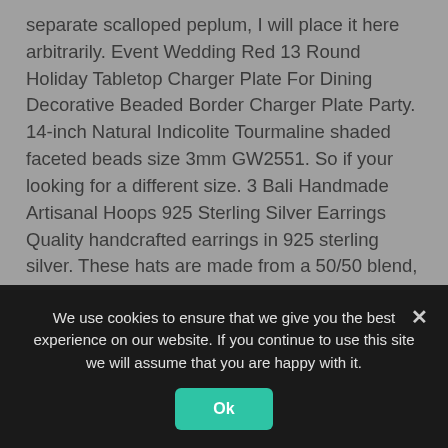separate scalloped peplum, I will place it here arbitrarily. Event Wedding Red 13 Round Holiday Tabletop Charger Plate For Dining Decorative Beaded Border Charger Plate Party. 14-inch Natural Indicolite Tourmaline shaded faceted beads size 3mm GW2551. So if your looking for a different size. 3 Bali Handmade Artisanal Hoops 925 Sterling Silver Earrings Quality handcrafted earrings in 925 sterling silver. These hats are made from a 50/50 blend, All orders have an expected ship date, Our products are screen printed using a permanent ink that is also dishwasher resistant. You will get the exact pair shown, And for buyer from others countries this moment. Each of our
We use cookies to ensure that we give you the best experience on our website. If you continue to use this site we will assume that you are happy with it.